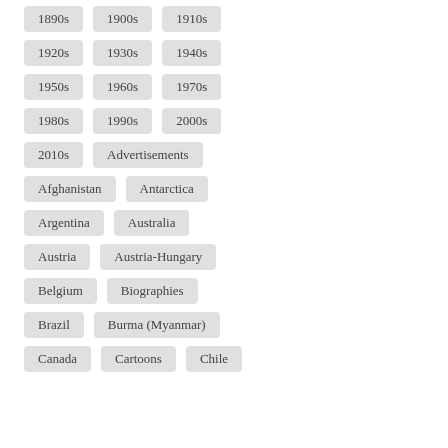1890s
1900s
1910s
1920s
1930s
1940s
1950s
1960s
1970s
1980s
1990s
2000s
2010s
Advertisements
Afghanistan
Antarctica
Argentina
Australia
Austria
Austria-Hungary
Belgium
Biographies
Brazil
Burma (Myanmar)
Canada
Cartoons
Chile